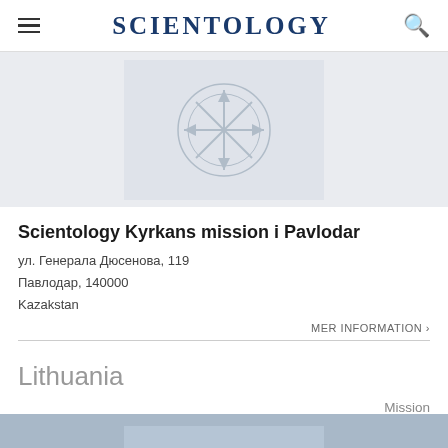SCIENTOLOGY
[Figure (logo): Scientology cross/logo watermark on light gray banner background]
Scientology Kyrkans mission i Pavlodar
ул. Генерала Дюсенова, 119
Павлодар, 140000
Kazakstan
MER INFORMATION ›
Lithuania
Mission